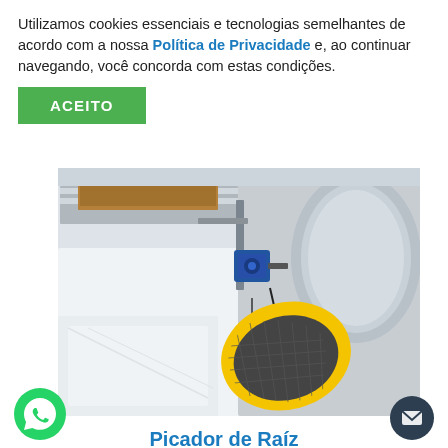Utilizamos cookies essenciais e tecnologias semelhantes de acordo com a nossa Política de Privacidade e, ao continuar navegando, você concorda com estas condições.
ACEITO
[Figure (photo): Industrial root chopper machine (Picador de Raíz) showing stainless steel conveyor, blue electric motor, and yellow safety guard mesh on the cutting head]
Picador de Raíz